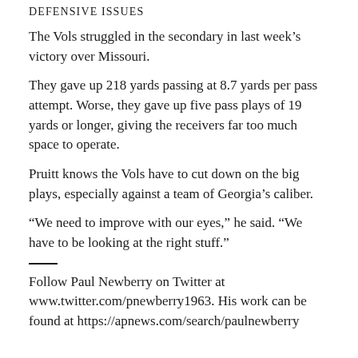Defensive Issues
The Vols struggled in the secondary in last week’s victory over Missouri.
They gave up 218 yards passing at 8.7 yards per pass attempt. Worse, they gave up five pass plays of 19 yards or longer, giving the receivers far too much space to operate.
Pruitt knows the Vols have to cut down on the big plays, especially against a team of Georgia’s caliber.
“We need to improve with our eyes,” he said. “We have to be looking at the right stuff.”
Follow Paul Newberry on Twitter at www.twitter.com/pnewberry1963. His work can be found at https://apnews.com/search/paulnewberry